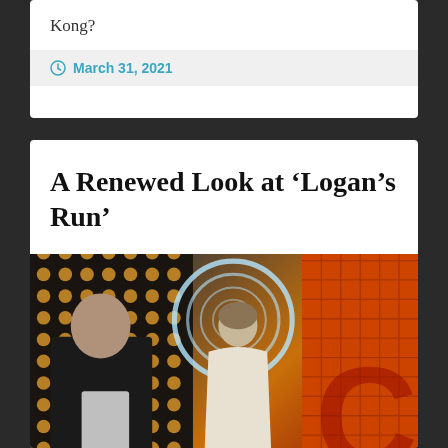Kong?
March 31, 2021
A Renewed Look at ‘Logan’s Run’
[Figure (photo): Two actors in costume standing in front of a futuristic sci-fi set with glowing circular lights and a grid background. One person wears dark clothing, another wears a white dress. The background features orange/red grid panels on the right.]